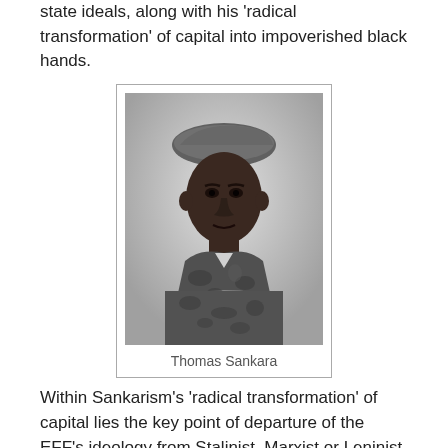state ideals, along with his 'radical transformation' of capital into impoverished black hands.
[Figure (photo): Black and white portrait photograph of Thomas Sankara wearing a military beret and camouflage uniform]
Thomas Sankara
Within Sankarism's 'radical transformation' of capital lies the key point of departure of the EFF's ideology from Stalinist, Marxist or Leninist Communism ideology, as it's this point the EFF matches perfectly Nazism and National Socialism, and it's simply because the capital in question is defined by 'race'.
To the EFF, 'white' South African people are the source of all miserly to black people, whites are blamed for all war in South